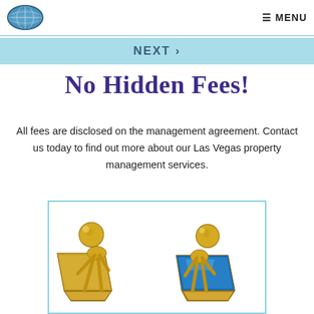MENU
NEXT ›
No Hidden Fees!
All fees are disclosed on the management agreement. Contact us today to find out more about our Las Vegas property management services.
[Figure (illustration): Two gold figurines sitting at laptops, one with a blue screen, bordered with light blue outline]